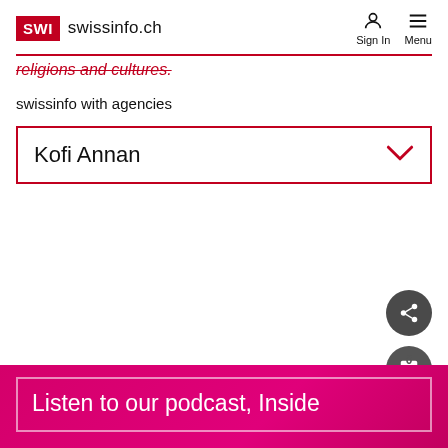SWI swissinfo.ch
religions and cultures.
swissinfo with agencies
Kofi Annan
Listen to our podcast, Inside